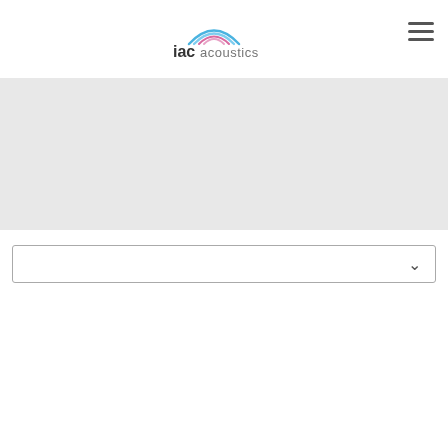[Figure (logo): IAC Acoustics logo with colorful arc/wave design above 'iac acoustics' text]
[Figure (other): Hamburger menu icon (three horizontal lines) in top right corner]
[Figure (other): Gray banner/hero image area]
[Figure (other): Dropdown select box with chevron arrow on right side]